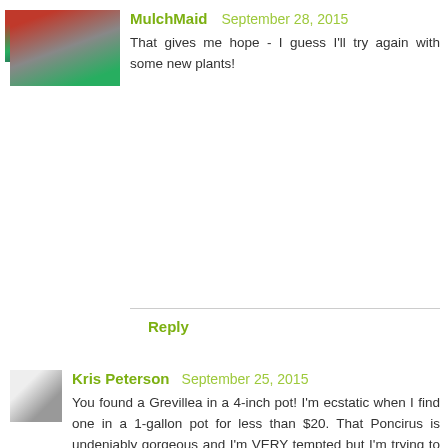MulchMaid  September 28, 2015
That gives me hope - I guess I'll try again with some new plants!
Reply
Kris Peterson  September 25, 2015
You found a Grevillea in a 4-inch pot! I'm ecstatic when I find one in a 1-gallon pot for less than $20. That Poncirus is undeniably gorgeous and I'm VERY tempted but I'm trying to ignore it as its mature size and water needs both present issues. I'm going to look for Amsonia, though, as it should work here even though I don't think I've ever seen it in our local garden centers. The favorites post caught me off-guard as well this month but I came up with a few selections, even if most of my garden is hot, dry and miserable: